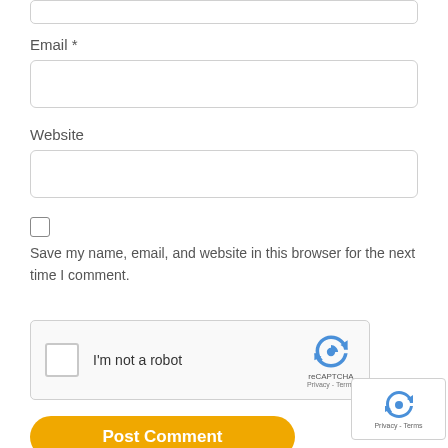Email *
[Figure (other): Empty text input field for Email]
Website
[Figure (other): Empty text input field for Website]
Save my name, email, and website in this browser for the next time I comment.
[Figure (other): reCAPTCHA widget with checkbox and logo]
[Figure (other): Post Comment button in orange/yellow]
[Figure (other): Mini reCAPTCHA logo with Privacy and Terms links]